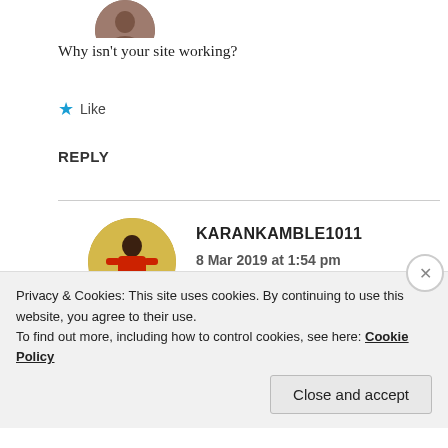[Figure (photo): Partial circular avatar image at top, cropped]
Why isn't your site working?
★ Like
REPLY
[Figure (photo): Circular avatar photo of a person wearing red shirt against yellow background]
KARANKAMBLE1011
8 Mar 2019 at 1:54 pm
It's working...
Privacy & Cookies: This site uses cookies. By continuing to use this website, you agree to their use.
To find out more, including how to control cookies, see here: Cookie Policy
Close and accept